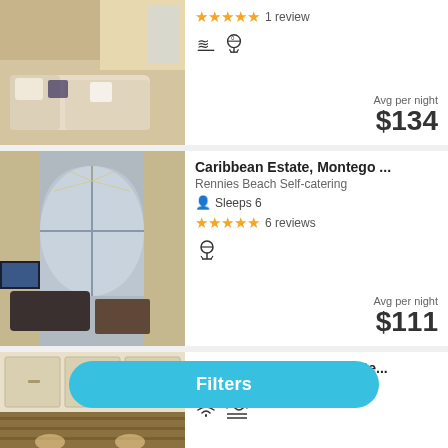[Figure (photo): Living room with cream sofa and decorative pillows]
★★★★★ 1 review
Avg per night $134
[Figure (photo): Caribbean Estate interior with arched window and curtains]
Caribbean Estate, Montego ...
Rennies Beach Self-catering
Sleeps 6
★★★★★ 6 reviews
Avg per night $111
[Figure (photo): Villa kitchen interior]
Villa 12101 Classic Four Be...
Self-catering
Filters